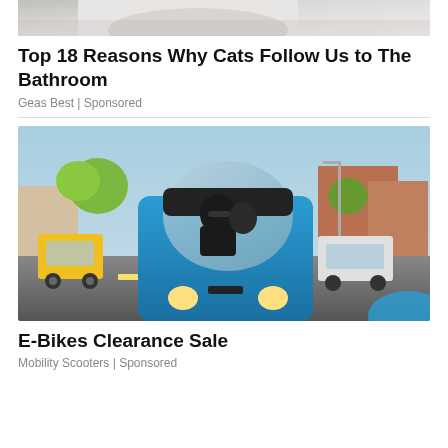[Figure (photo): Partial top image of person holding a cat, cropped at top of page]
Top 18 Reasons Why Cats Follow Us to The Bathroom
Geas Best | Sponsored
[Figure (photo): Photo of two people riding a blue enclosed electric bike/scooter on a city street with cars and buildings in background]
E-Bikes Clearance Sale
Mobility Scooters | Sponsored